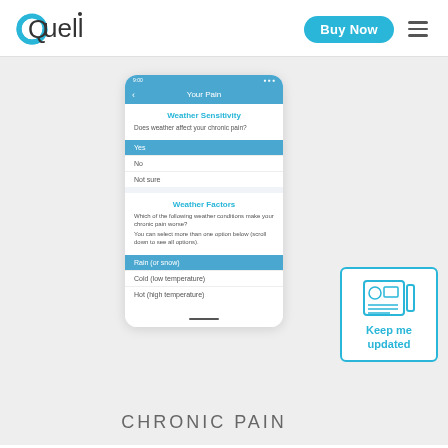Quell | Buy Now
[Figure (screenshot): Mobile app screenshot showing 'Your Pain' screen with Weather Sensitivity section (options: Yes selected, No, Not sure) and Weather Factors section (options: Rain (or snow) selected, Cold (low temperature), Hot (high temperature))]
[Figure (illustration): Newsletter/update icon with cyan border and Keep me updated text]
CHRONIC PAIN